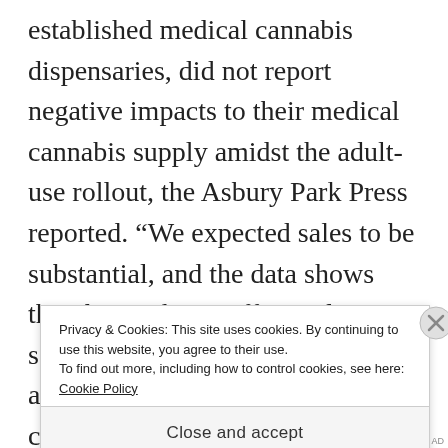established medical cannabis dispensaries, did not report negative impacts to their medical cannabis supply amidst the adult-use rollout, the Asbury Park Press reported. “We expected sales to be substantial, and the data shows that the market is effectively serving both adult-use consumers and patients,” Brown said. “We continue to monitor inventory and access for patients and are prepared to take enforcement a… t…
Privacy & Cookies: This site uses cookies. By continuing to use this website, you agree to their use.
To find out more, including how to control cookies, see here: Cookie Policy
Close and accept